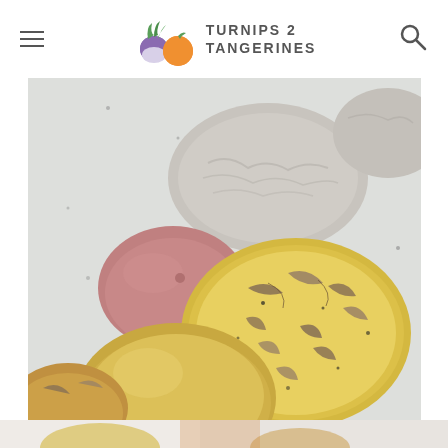Turnips 2 Tangerines — navigation header with logo, menu icon, and search icon
[Figure (photo): Close-up photo of whole and smashed potatoes on a speckled light grey surface. Includes a yellow Yukon Gold potato, a red-skinned potato, smashed potatoes showing their fluffy yellow interior with browned skin, and additional potatoes in the background. The smashing technique is visible with crinkled skin pressed flat.]
[Figure (photo): Partial view of another food photo at the very bottom of the page, partially cropped.]